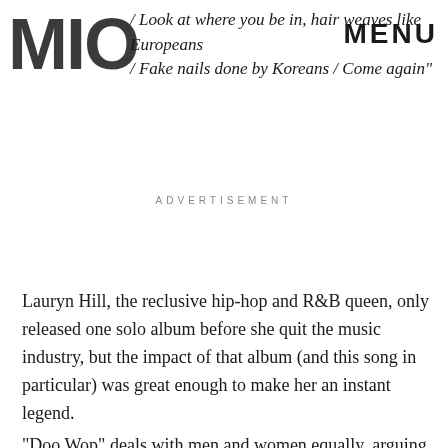MIO | MENU
/ Look at where you be in, hair weaves like Europeans / Fake nails done by Koreans / Come again"
ADVERTISEMENT
Lauryn Hill, the reclusive hip-hop and R&B queen, only released one solo album before she quit the music industry, but the impact of that album (and this song in particular) was great enough to make her an instant legend.
"Doo Wop" deals with men and women equally, arguing